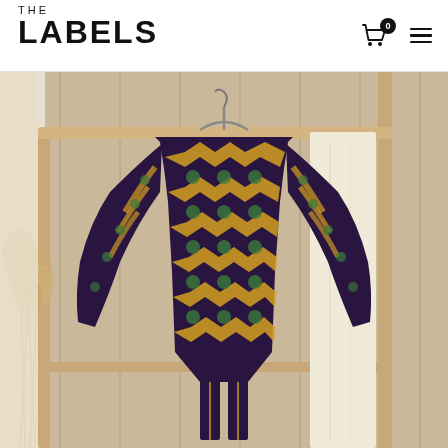THE LABELS
[Figure (photo): A patterned long-sleeve blouse/top with bold geometric zigzag and medallion print in dark purple, gold/yellow, and green colors, hanging on a wooden clothing rack. To the left are dried pampas grass stems in a vase, and to the right hangs a cream/off-white fabric panel. The background shows a light wooden wall with vertical slats.]